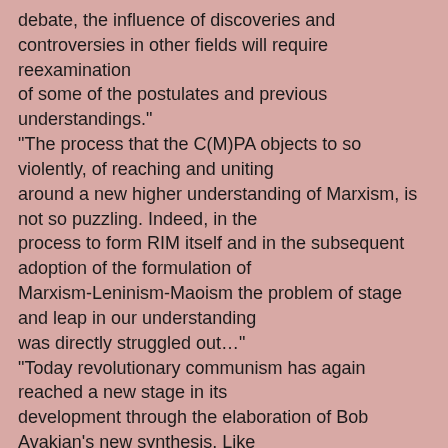debate, the influence of discoveries and controversies in other fields will require reexamination of some of the postulates and previous understandings." "The process that the C(M)PA objects to so violently, of reaching and uniting around a new higher understanding of Marxism, is not so puzzling. Indeed, in the process to form RIM itself and in the subsequent adoption of the formulation of Marxism-Leninism-Maoism the problem of stage and leap in our understanding was directly struggled out…" "Today revolutionary communism has again reached a new stage in its development through the elaboration of Bob Avakian's new synthesis. Like previous advances in our science it involves both continuity and rupture and the recasting of the ensemble. The new synthesis provides genuine continuity with Mao by going beyond Mao, and identifying elements, albeit secondary, which are